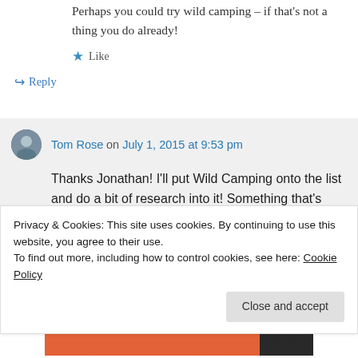Perhaps you could try wild camping – if that's not a thing you do already!
★ Like
↳ Reply
Tom Rose on July 1, 2015 at 9:53 pm
Thanks Jonathan! I'll put Wild Camping onto the list and do a bit of research into it! Something that's new to me! Send over any
Privacy & Cookies: This site uses cookies. By continuing to use this website, you agree to their use.
To find out more, including how to control cookies, see here: Cookie Policy
Close and accept